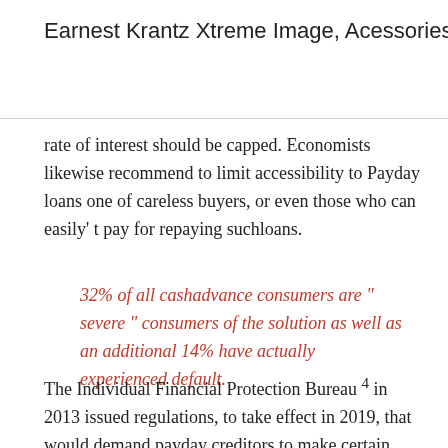Earnest Krantz Xtreme Image, Acessories, Henderson
rate of interest should be capped. Economists likewise recommend to limit accessibility to Payday loans one of careless buyers, or even those who can easily' t pay for repaying suchloans.
32% of all cashadvance consumers are " severe " consumers of the solution as well as an additional 14% have actually experienced default.
The Individual Financial Protection Bureau 4 in 2013 issued regulations, to take effect in 2019, that would demand payday creditors to make certain borrowers could possibly pay for to repay a new financing and also still fulfill fundamental living